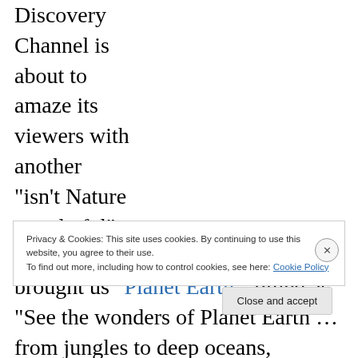Discovery Channel is about to amaze its viewers with another “isn’t Nature wonderful” spectacular. The basic cable channel brought us “Planet Earth,” billed as “See the wonders of Planet Earth … from jungles to deep oceans, discover our stunning planet.”
Privacy & Cookies: This site uses cookies. By continuing to use this website, you agree to their use. To find out more, including how to control cookies, see here: Cookie Policy